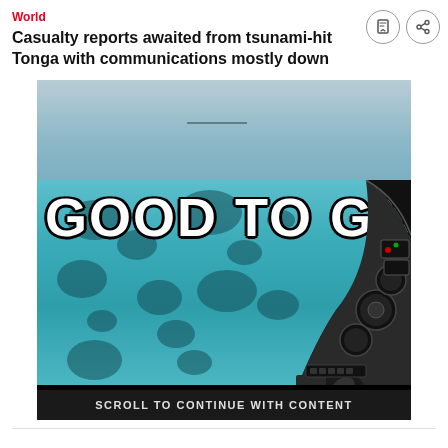World
Casualty reports awaited from tsunami-hit Tonga with communications mostly down
[Figure (photo): Advertisement overlay image showing aerial view from helicopter cockpit over turquoise coral reef ocean with large white bold text 'GOOD TO GO' and a scroll-to-continue prompt at the bottom]
SCROLL TO CONTINUE WITH CONTENT